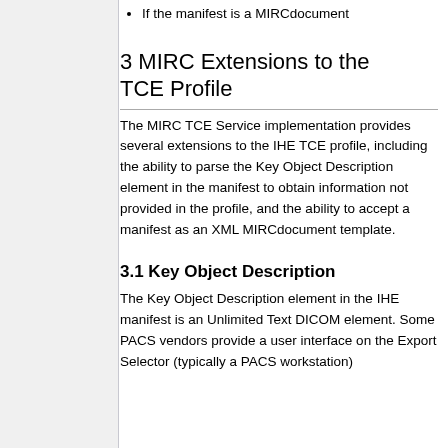If the manifest is a MIRCdocument
3 MIRC Extensions to the TCE Profile
The MIRC TCE Service implementation provides several extensions to the IHE TCE profile, including the ability to parse the Key Object Description element in the manifest to obtain information not provided in the profile, and the ability to accept a manifest as an XML MIRCdocument template.
3.1 Key Object Description
The Key Object Description element in the IHE manifest is an Unlimited Text DICOM element. Some PACS vendors provide a user interface on the Export Selector (typically a PACS workstation)